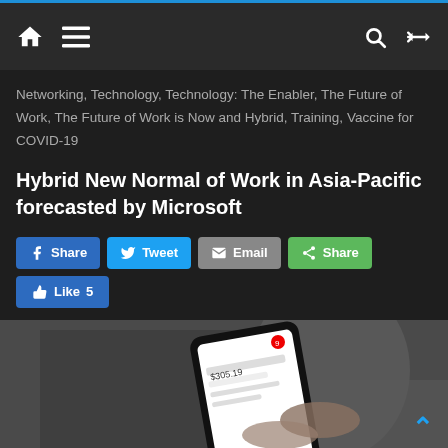Navigation bar with home, menu, search, and shuffle icons
Networking, Technology, Technology: The Enabler, The Future of Work, The Future of Work is Now and Hybrid, Training, Vaccine for COVID-19
Hybrid New Normal of Work in Asia-Pacific forecasted by Microsoft
Share  Tweet  Email  Share  Like 5
Read more
[Figure (photo): Person holding a smartphone showing a financial app with dollar amounts, blurred background]